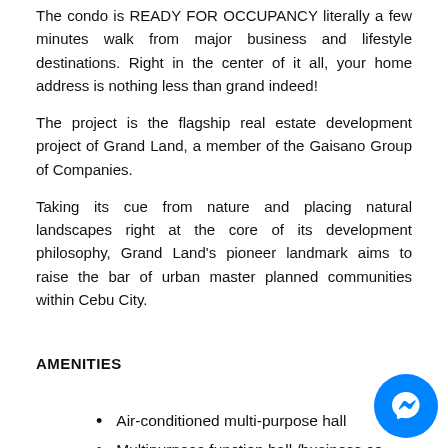The condo is READY FOR OCCUPANCY literally a few minutes walk from major business and lifestyle destinations. Right in the center of it all, your home address is nothing less than grand indeed!
The project is the flagship real estate development project of Grand Land, a member of the Gaisano Group of Companies.
Taking its cue from nature and placing natural landscapes right at the core of its development philosophy, Grand Land's pioneer landmark aims to raise the bar of urban master planned communities within Cebu City.
AMENITIES
Air-conditioned multi-purpose hall
Multipurpose function hall /business ce...
Poolside lounge w/bar
Entertainment room